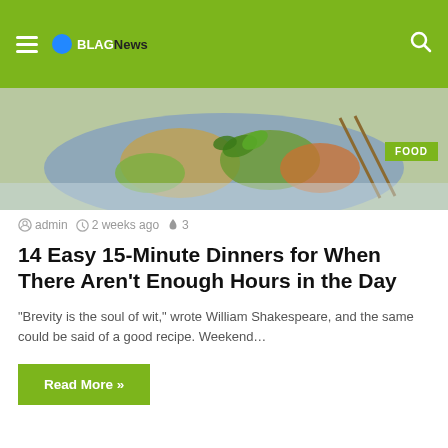BLAGNews — hamburger menu and search icon
[Figure (photo): Food photo showing a plate with vegetables and other dishes on a blue-grey surface]
admin  2 weeks ago  🔥 3
14 Easy 15-Minute Dinners for When There Aren't Enough Hours in the Day
“Brevity is the soul of wit,” wrote William Shakespeare, and the same could be said of a good recipe. Weekend…
Read More »